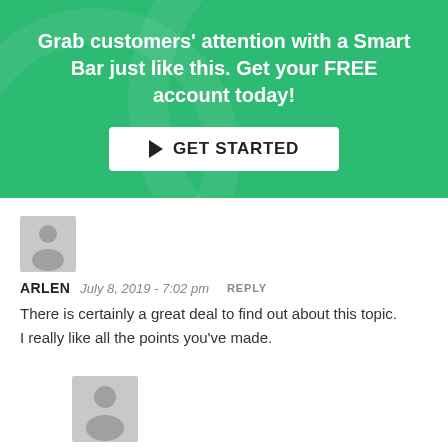Grab customers' attention with a Smart Bar just like this. Get your FREE account today!
[Figure (other): Green call-to-action banner with GET STARTED button]
ARLEN   July 8, 2019 - 7:02 pm   REPLY
There is certainly a great deal to find out about this topic.
I really like all the points you've made.
MAGGIE KLEIN   July 9, 2019 - 2:48 am   REPLY